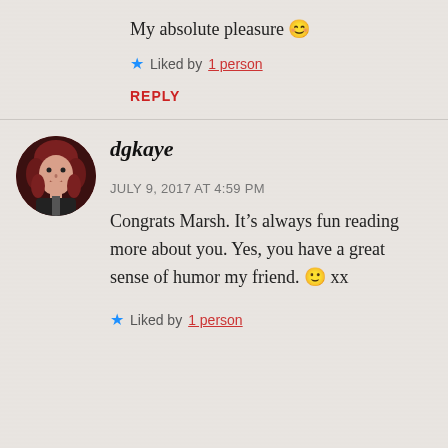My absolute pleasure 😊
★ Liked by 1 person
REPLY
[Figure (photo): Circular avatar photo of a woman with dark red hair]
dgkaye
JULY 9, 2017 AT 4:59 PM
Congrats Marsh. It's always fun reading more about you. Yes, you have a great sense of humor my friend. 🙂 xx
★ Liked by 1 person